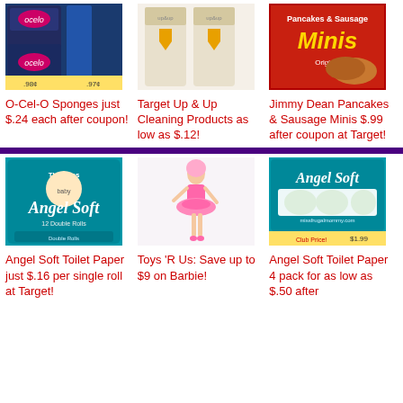[Figure (photo): O-Cel-O Sponges product photo in store]
O-Cel-O Sponges just $.24 each after coupon!
[Figure (photo): Target Up & Up Cleaning Products bottles with Target arrow logo]
Target Up & Up Cleaning Products as low as $.12!
[Figure (photo): Jimmy Dean Pancakes & Sausage Minis box]
Jimmy Dean Pancakes & Sausage Minis $.99 after coupon at Target!
[Figure (photo): Angel Soft toilet paper 12 double rolls package]
Angel Soft Toilet Paper just $.16 per single roll at Target!
[Figure (photo): Barbie ballerina doll in pink tutu]
Toys 'R Us: Save up to $9 on Barbie!
[Figure (photo): Angel Soft toilet paper 4 pack with Club Price tag]
Angel Soft Toilet Paper 4 pack for as low as $.50 after